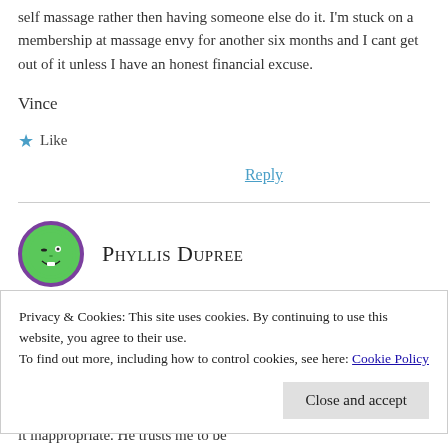self massage rather then having someone else do it. I'm stuck on a membership at massage envy for another six months and I cant get out of it unless I have an honest financial excuse.
Vince
★ Like
Reply
[Figure (illustration): Round avatar icon with purple border, green face with winking expression]
Phyllis Dupree
Privacy & Cookies: This site uses cookies. By continuing to use this website, you agree to their use.
To find out more, including how to control cookies, see here: Cookie Policy
Close and accept
it inappropriate. He trusts me to be